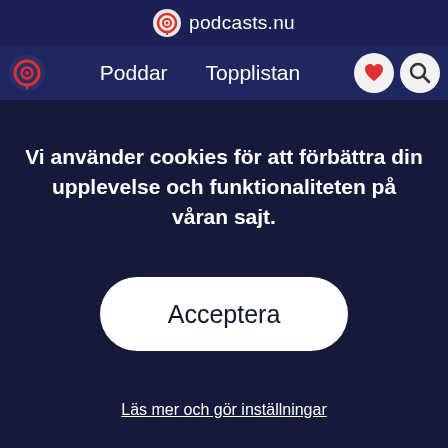podcasts.nu
Poddar  Topplistan
Vi använder cookies för att förbättra din upplevelse och funktionaliteten på våran sajt.
Acceptera
Läs mer och gör inställningar